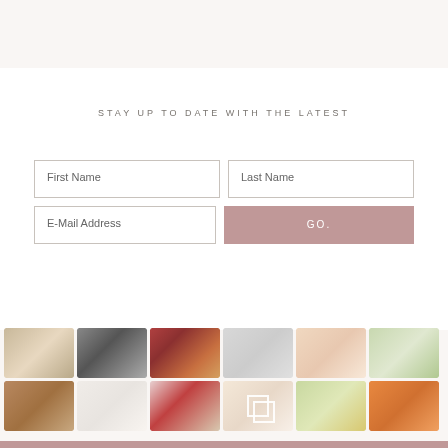STAY UP TO DATE WITH THE LATEST
[Figure (screenshot): Email signup form with First Name, Last Name, E-Mail Address fields and a GO. button with dusty rose background]
[Figure (photo): Instagram-style photo grid with 12 lifestyle photos: sandals, baby stroller, Amazon packages, Nordstrom pillow, baby girl, champagne glasses, loafers, wrapped gifts, flower bouquet with American flag, smiling baby, wine glasses, orange flowers]